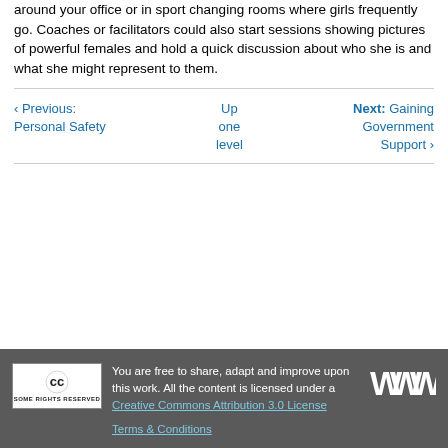around your office or in sport changing rooms where girls frequently go. Coaches or facilitators could also start sessions showing pictures of powerful females and hold a quick discussion about who she is and what she might represent to them.
‹ Previous: Personal Safety
Up one level
Next: Gaining Government Support ›
You are free to share, adapt and improve upon this work. All the content is licensed under a Creative Commons Attribution 3.0 License
Terms & Conditions